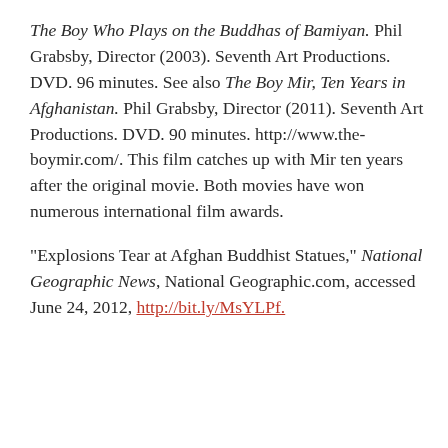The Boy Who Plays on the Buddhas of Bamiyan. Phil Grabsby, Director (2003). Seventh Art Productions. DVD. 96 minutes. See also The Boy Mir, Ten Years in Afghanistan. Phil Grabsby, Director (2011). Seventh Art Productions. DVD. 90 minutes. http://www.the-boymir.com/. This film catches up with Mir ten years after the original movie. Both movies have won numerous international film awards.
"Explosions Tear at Afghan Buddhist Statues," National Geographic News, National Geographic.com, accessed June 24, 2012, http://bit.ly/MsYLPf.